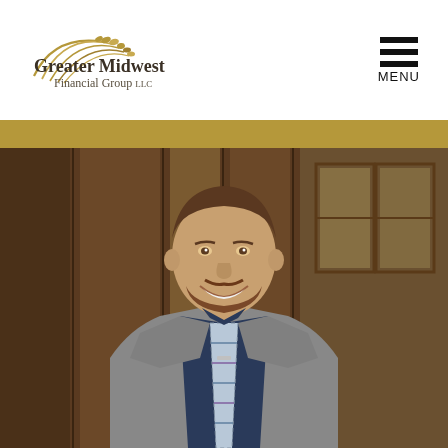Greater Midwest Financial Group LLC — MENU
[Figure (photo): Professional headshot of a young man with a beard, wearing a grey suit jacket, navy blue dress shirt, and a plaid tie, smiling at the camera. Background shows a wood-paneled interior with windows.]